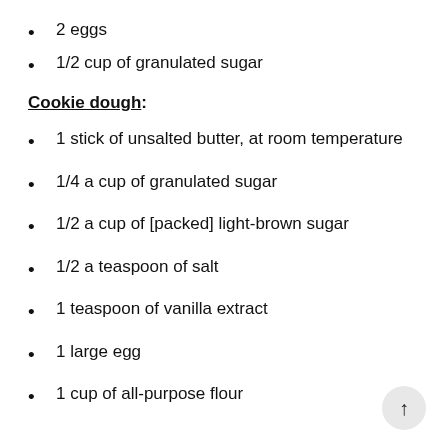2 eggs
1/2 cup of granulated sugar
Cookie dough:
1 stick of unsalted butter, at room temperature
1/4 a cup of granulated sugar
1/2 a cup of [packed] light-brown sugar
1/2 a teaspoon of salt
1 teaspoon of vanilla extract
1 large egg
1 cup of all-purpose flour